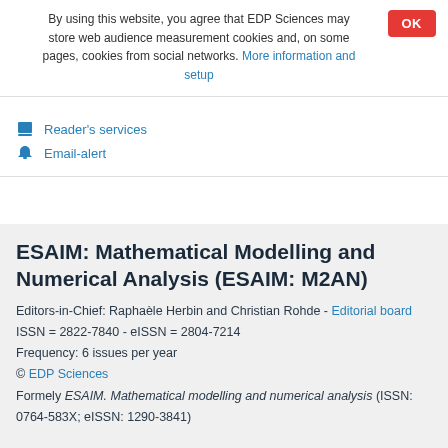By using this website, you agree that EDP Sciences may store web audience measurement cookies and, on some pages, cookies from social networks. More information and setup
Reader's services
Email-alert
ESAIM: Mathematical Modelling and Numerical Analysis (ESAIM: M2AN)
Editors-in-Chief: Raphaèle Herbin and Christian Rohde - Editorial board
ISSN = 2822-7840 - eISSN = 2804-7214
Frequency: 6 issues per year
© EDP Sciences
Formely ESAIM. Mathematical modelling and numerical analysis (ISSN: 0764-583X; eISSN: 1290-3841)